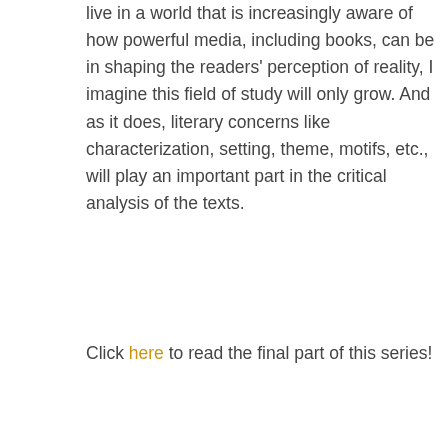live in a world that is increasingly aware of how powerful media, including books, can be in shaping the readers' perception of reality, I imagine this field of study will only grow. And as it does, literary concerns like characterization, setting, theme, motifs, etc., will play an important part in the critical analysis of the texts.
Click here to read the final part of this series!